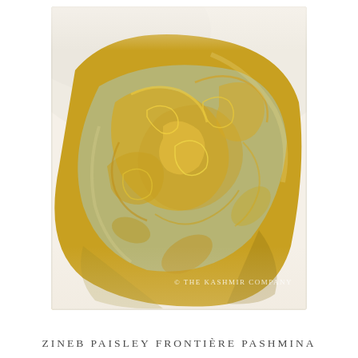[Figure (photo): Close-up photograph of a folded paisley-patterned pashmina fabric in gold/amber and light mint/seafoam colors with intricate swirling baroque paisley designs. The fabric appears silky and luxurious. A watermark reads '© The Kashmir Company' in the lower right area of the photo.]
ZINEB PAISLEY FRONTIÈRE PASHMINA